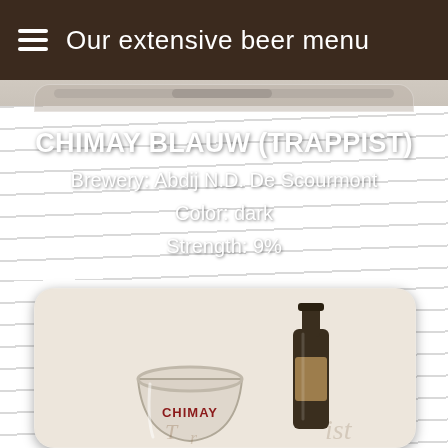Our extensive beer menu
CHIMAY BLAUW (TRAPPIST)
Brewery: Abdij N.D. De Scourmont
Color: dark
Strength: 9%
[Figure (photo): Photo of Chimay Blauw beer: a glass and a dark bottle of Chimay beer on a light background]